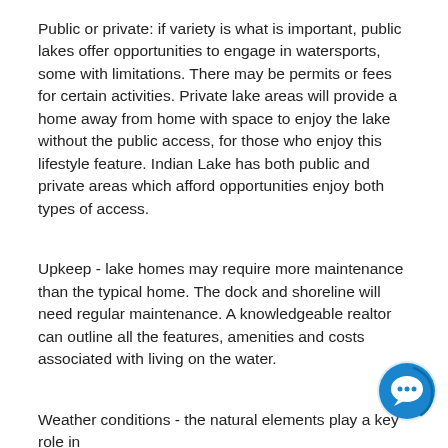Public or private: if variety is what is important, public lakes offer opportunities to engage in watersports, some with limitations. There may be permits or fees for certain activities. Private lake areas will provide a home away from home with space to enjoy the lake without the public access, for those who enjoy this lifestyle feature. Indian Lake has both public and private areas which afford opportunities enjoy both types of access.
Upkeep - lake homes may require more maintenance than the typical home. The dock and shoreline will need regular maintenance. A knowledgeable realtor can outline all the features, amenities and costs associated with living on the water.
Weather conditions - the natural elements play a key role in
[Figure (illustration): Blue circular chat/messaging icon in the bottom-right corner of the page]